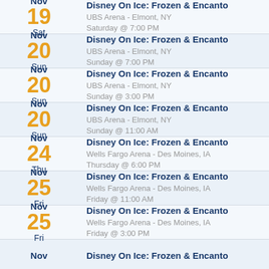Nov 19 Sat — Disney On Ice: Frozen & Encanto — UBS Arena - Elmont, NY — Saturday @ 7:00 PM
Nov 20 Sun — Disney On Ice: Frozen & Encanto — UBS Arena - Elmont, NY — Sunday @ 7:00 PM
Nov 20 Sun — Disney On Ice: Frozen & Encanto — UBS Arena - Elmont, NY — Sunday @ 3:00 PM
Nov 20 Sun — Disney On Ice: Frozen & Encanto — UBS Arena - Elmont, NY — Sunday @ 11:00 AM
Nov 24 Thu — Disney On Ice: Frozen & Encanto — Wells Fargo Arena - Des Moines, IA — Thursday @ 6:00 PM
Nov 25 Fri — Disney On Ice: Frozen & Encanto — Wells Fargo Arena - Des Moines, IA — Friday @ 11:00 AM
Nov 25 Fri — Disney On Ice: Frozen & Encanto — Wells Fargo Arena - Des Moines, IA — Friday @ 3:00 PM
Nov ... — Disney On Ice: Frozen & Encanto — (partial, cut off)